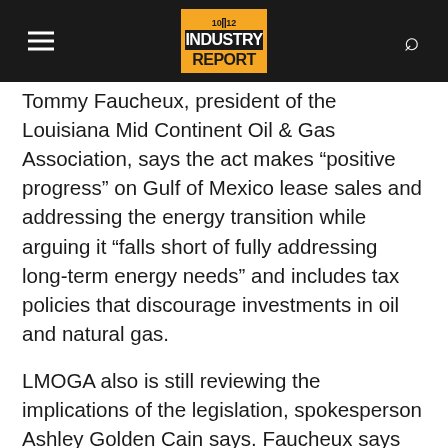10|12 INDUSTRY REPORT
Tommy Faucheux, president of the Louisiana Mid Continent Oil & Gas Association, says the act makes “positive progress” on Gulf of Mexico lease sales and addressing the energy transition while arguing it “falls short of fully addressing long-term energy needs” and includes tax policies that discourage investments in oil and natural gas.
LMOGA also is still reviewing the implications of the legislation, spokesperson Ashley Golden Cain says. Faucheux says he remains supportive of “smart regulations that build on climate progress” while promoting oil and natural gas production.